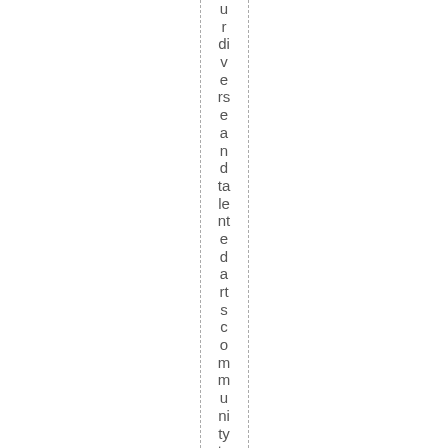u r di v e rs e a n d ta le nt e d a rt s c o m m u ni ty to